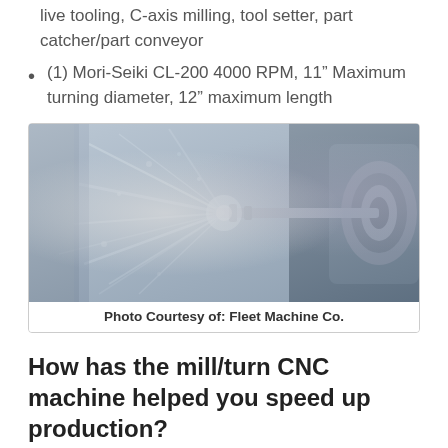live tooling, C-axis milling, tool setter, part catcher/part conveyor
(1) Mori-Seiki CL-200 4000 RPM, 11” Maximum turning diameter, 12” maximum length
[Figure (photo): CNC mill/turn machine in operation with coolant/chips spraying, showing the spindle and cutting area. Photo of a machining operation with fluid spray.]
Photo Courtesy of: Fleet Machine Co.
How has the mill/turn CNC machine helped you speed up production?